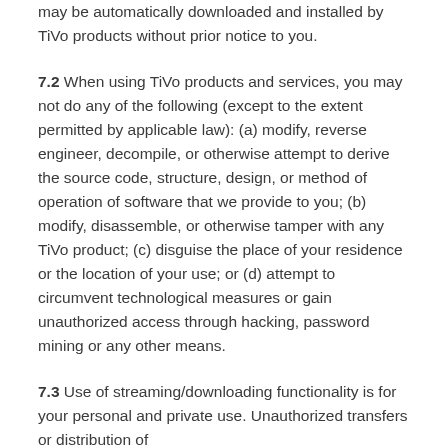may be automatically downloaded and installed by TiVo products without prior notice to you.
7.2 When using TiVo products and services, you may not do any of the following (except to the extent permitted by applicable law): (a) modify, reverse engineer, decompile, or otherwise attempt to derive the source code, structure, design, or method of operation of software that we provide to you; (b) modify, disassemble, or otherwise tamper with any TiVo product; (c) disguise the place of your residence or the location of your use; or (d) attempt to circumvent technological measures or gain unauthorized access through hacking, password mining or any other means.
7.3 Use of streaming/downloading functionality is for your personal and private use. Unauthorized transfers or distribution of